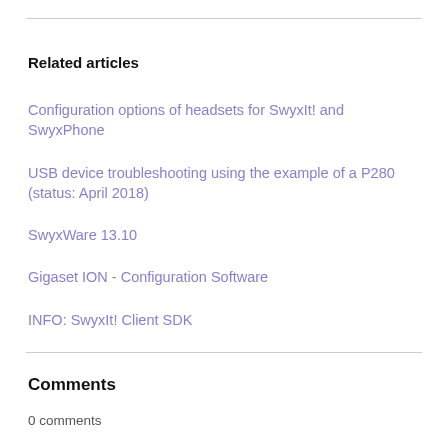Related articles
Configuration options of headsets for SwyxIt! and SwyxPhone
USB device troubleshooting using the example of a P280 (status: April 2018)
SwyxWare 13.10
Gigaset ION - Configuration Software
INFO: SwyxIt! Client SDK
Comments
0 comments